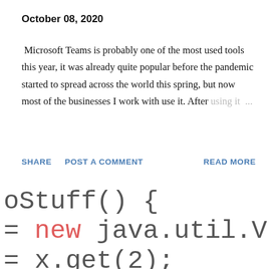October 08, 2020
Microsoft Teams is probably one of the most used tools this year, it was already quite popular before the pandemic started to spread across the world this spring, but now most of the businesses I work with use it. After using it ...
SHARE   POST A COMMENT   READ MORE
[Figure (screenshot): Blurry code snippet showing Java code: 'oStuff() {', '= new java.util.V', '= x.get(2);']